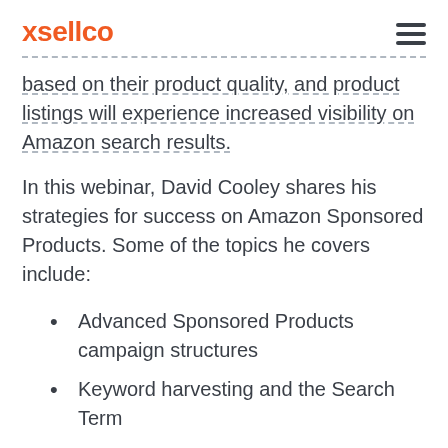xsellco
based on their product quality, and product listings will experience increased visibility on Amazon search results.
In this webinar, David Cooley shares his strategies for success on Amazon Sponsored Products. Some of the topics he covers include:
Advanced Sponsored Products campaign structures
Keyword harvesting and the Search Term